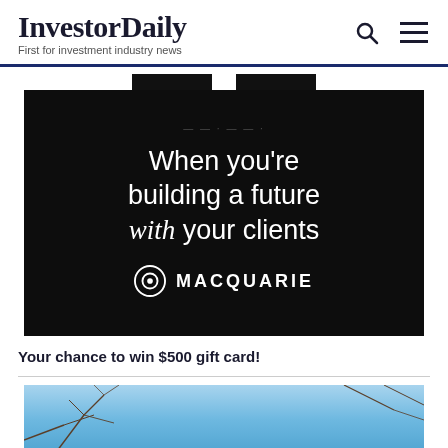InvestorDaily — First for investment industry news
[Figure (other): Macquarie advertisement banner on dark/black background. Text reads: 'When you’re building a future with your clients' with Macquarie logo (concentric circle icon) and name MACQUARIE in white.]
Your chance to win $500 gift card!
[Figure (photo): Partial photo showing bare tree branches against a light blue sky, cropped at the bottom of the page.]